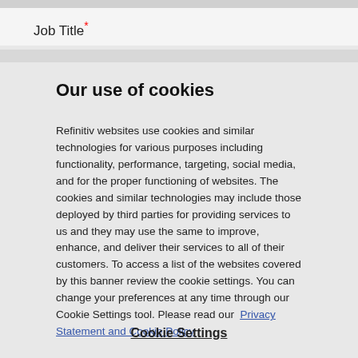Job Title*
Our use of cookies
Refinitiv websites use cookies and similar technologies for various purposes including functionality, performance, targeting, social media, and for the proper functioning of websites. The cookies and similar technologies may include those deployed by third parties for providing services to us and they may use the same to improve, enhance, and deliver their services to all of their customers. To access a list of the websites covered by this banner review the cookie settings. You can change your preferences at any time through our Cookie Settings tool. Please read our  Privacy Statement and Cookie Policy
Cookie Settings